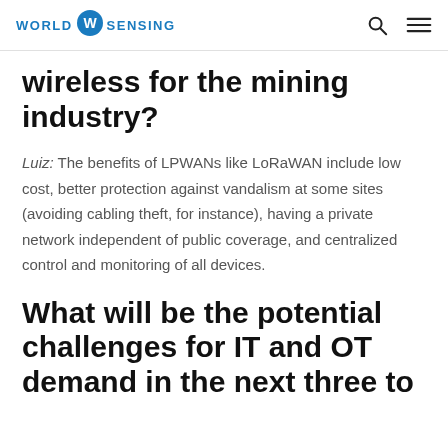WORLD SENSING
wireless for the mining industry?
Luiz: The benefits of LPWANs like LoRaWAN include low cost, better protection against vandalism at some sites (avoiding cabling theft, for instance), having a private network independent of public coverage, and centralized control and monitoring of all devices.
What will be the potential challenges for IT and OT demand in the next three to